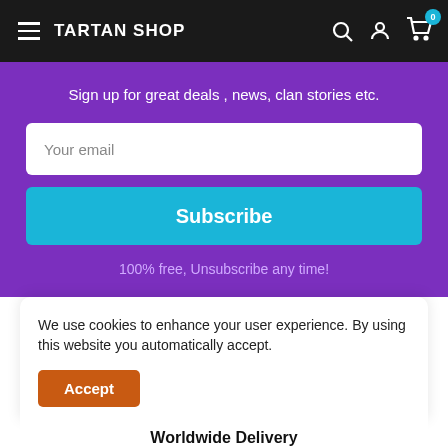TARTAN SHOP
Sign up for great deals , news, clan stories etc.
Your email
Subscribe
100% free, Unsubscribe any time!
We use cookies to enhance your user experience. By using this website you automatically accept.
Accept
Worldwide Delivery